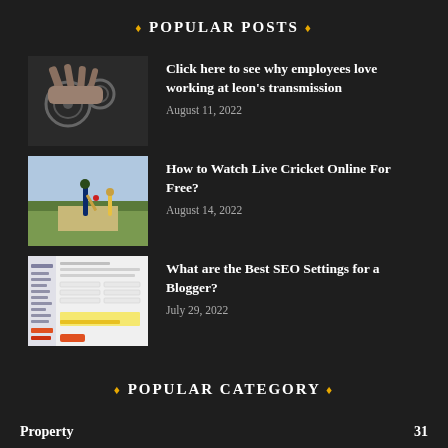♦ POPULAR POSTS ♦
[Figure (photo): Close-up photo of mechanical transmission parts being worked on]
Click here to see why employees love working at leon's transmission
August 11, 2022
[Figure (photo): Cricket match photo showing players on the field]
How to Watch Live Cricket Online For Free?
August 14, 2022
[Figure (screenshot): Screenshot of blogger SEO settings page]
What are the Best SEO Settings for a Blogger?
July 29, 2022
♦ POPULAR CATEGORY ♦
Property    31